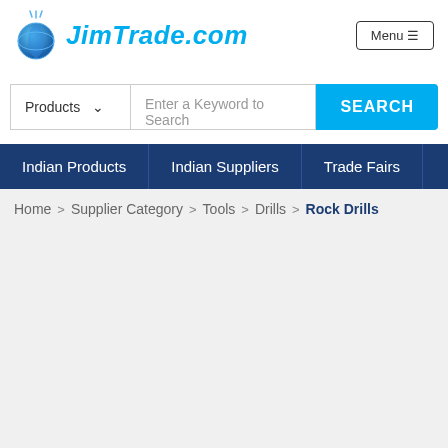[Figure (logo): JimTrade.com logo with blue globe/shield graphic and italic blue text]
Menu ≡
Products ∨  Enter a Keyword to Search  SEARCH
Indian Products  |  Indian Suppliers  |  Trade Fairs
Home > Supplier Category > Tools > Drills > Rock Drills